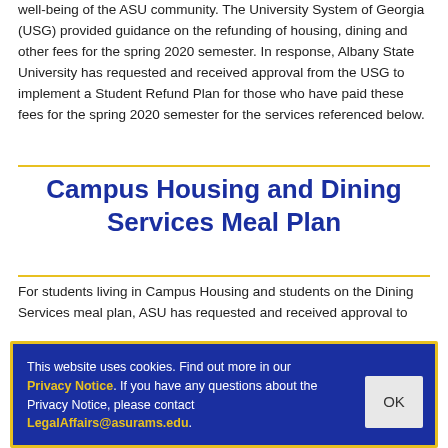well-being of the ASU community. The University System of Georgia (USG) provided guidance on the refunding of housing, dining and other fees for the spring 2020 semester. In response, Albany State University has requested and received approval from the USG to implement a Student Refund Plan for those who have paid these fees for the spring 2020 semester for the services referenced below.
Campus Housing and Dining Services Meal Plan
For students living in Campus Housing and students on the Dining Services meal plan, ASU has requested and received approval to
This website uses cookies. Find out more in our Privacy Notice. If you have any questions about the Privacy Notice, please contact LegalAffairs@asurams.edu.